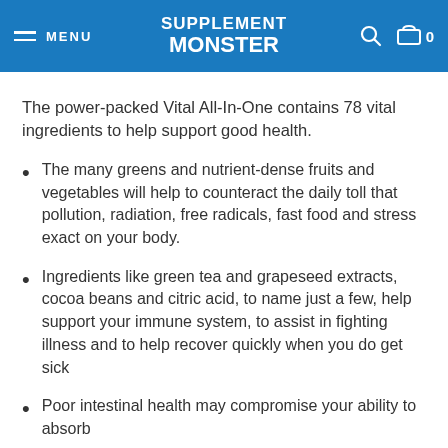SUPPLEMENT MONSTER | MENU
The power-packed Vital All-In-One contains 78 vital ingredients to help support good health.
The many greens and nutrient-dense fruits and vegetables will help to counteract the daily toll that pollution, radiation, free radicals, fast food and stress exact on your body.
Ingredients like green tea and grapeseed extracts, cocoa beans and citric acid, to name just a few, help support your immune system, to assist in fighting illness and to help recover quickly when you do get sick
Poor intestinal health may compromise your ability to absorb